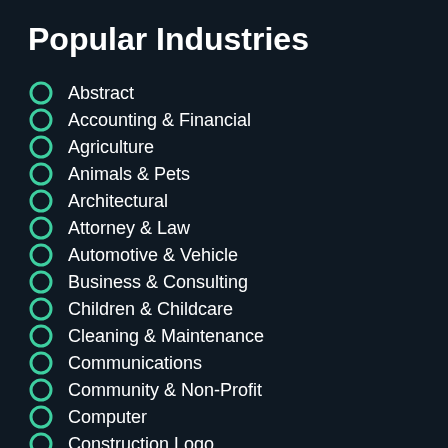Popular Industries
Abstract
Accounting & Financial
Agriculture
Animals & Pets
Architectural
Attorney & Law
Automotive & Vehicle
Business & Consulting
Children & Childcare
Cleaning & Maintenance
Communications
Community & Non-Profit
Computer
Construction Logo
Dating
Education